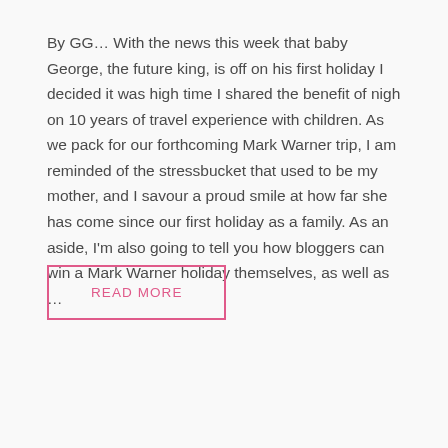By GG… With the news this week that baby George, the future king, is off on his first holiday I decided it was high time I shared the benefit of nigh on 10 years of travel experience with children. As we pack for our forthcoming Mark Warner trip, I am reminded of the stressbucket that used to be my mother, and I savour a proud smile at how far she has come since our first holiday as a family. As an aside, I'm also going to tell you how bloggers can win a Mark Warner holiday themselves, as well as …
READ MORE